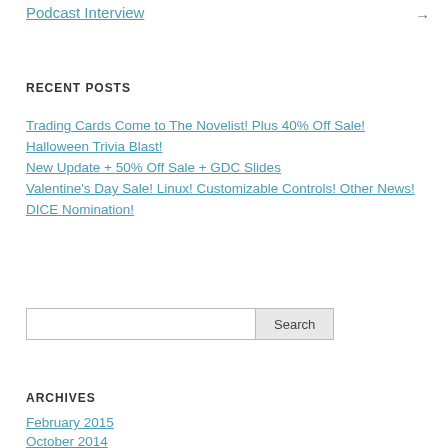Podcast Interview →
RECENT POSTS
Trading Cards Come to The Novelist! Plus 40% Off Sale!
Halloween Trivia Blast!
New Update + 50% Off Sale + GDC Slides
Valentine's Day Sale! Linux! Customizable Controls! Other News!
DICE Nomination!
ARCHIVES
February 2015
October 2014